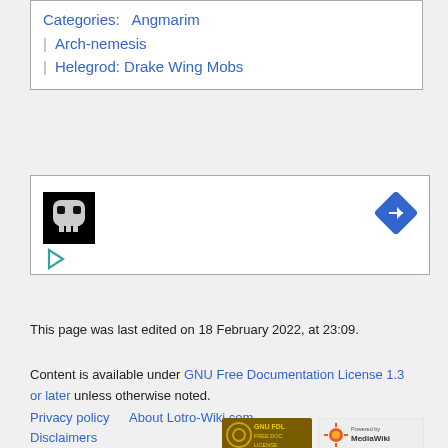Categories:  Angmarim | Arch-nemesis | Helegrod: Drake Wing Mobs
[Figure (other): Navigation box with skull icon, play button, and right-arrow navigation button]
This page was last edited on 18 February 2022, at 23:09.
Content is available under GNU Free Documentation License 1.3 or later unless otherwise noted.
Privacy policy   About Lotro-Wiki.com
Disclaimers